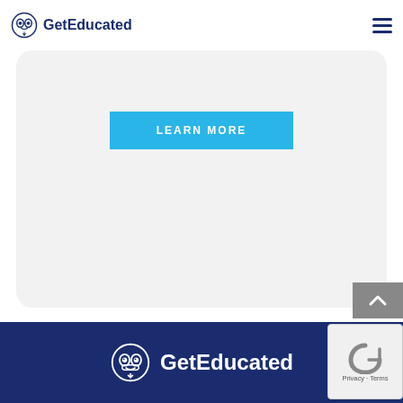GetEducated
Graduates with this degree may go on to pursue
[Figure (other): Cyan 'LEARN MORE' button on light gray rounded card section]
GetEducated
[Figure (other): reCAPTCHA widget overlay with Privacy and Terms links]